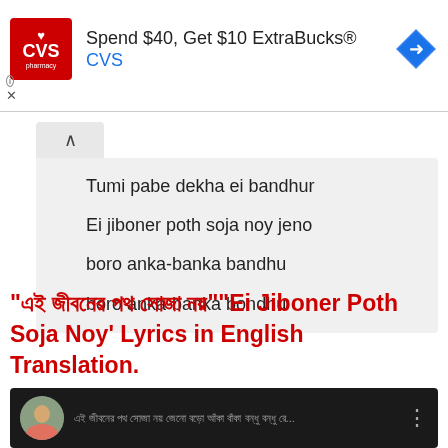[Figure (screenshot): CVS Pharmacy advertisement banner: red logo with heart and CVS pharmacy text, ad text 'Spend $40, Get $10 ExtraBucks® CVS', blue navigation arrow icon on right]
Tumi pabe dekha ei bandhur
Ei jiboner poth soja noy jeno
boro anka-banka bandhu
boro anka-banka bondhu
"এই জীবনের পথ সোজা নয়""Ei Jiboner Poth Soja Noy' Lyrics in English Translation.
[Figure (screenshot): Dark video thumbnail with circular avatar photo of person on left and Bengali text in grey, three-dot menu icon on right]